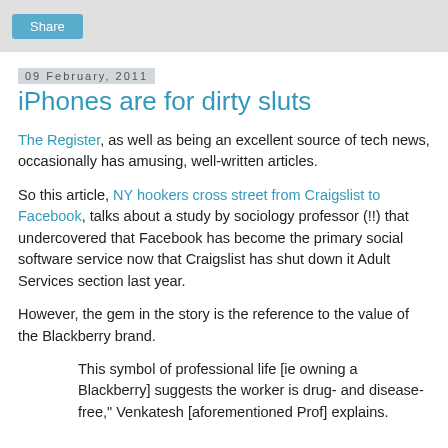Share
09 February, 2011
iPhones are for dirty sluts
The Register, as well as being an excellent source of tech news, occasionally has amusing, well-written articles.
So this article, NY hookers cross street from Craigslist to Facebook, talks about a study by sociology professor (!!) that undercovered that Facebook has become the primary social software service now that Craigslist has shut down it Adult Services section last year.
However, the gem in the story is the reference to the value of the Blackberry brand.
This symbol of professional life [ie owning a Blackberry] suggests the worker is drug- and disease-free," Venkatesh [aforementioned Prof] explains.